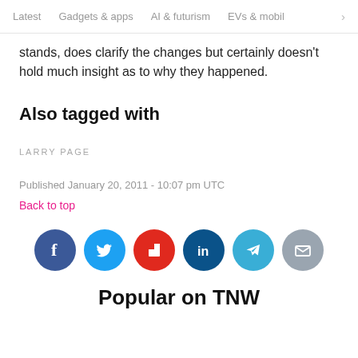Latest   Gadgets & apps   AI & futurism   EVs & mobil
stands, does clarify the changes but certainly doesn't hold much insight as to why they happened.
Also tagged with
LARRY PAGE
Published January 20, 2011 - 10:07 pm UTC
Back to top
[Figure (other): Row of six social sharing icon circles: Facebook (blue), Twitter (blue), Flipboard (red), LinkedIn (dark blue), Telegram (light blue), Email (grey)]
Popular on TNW